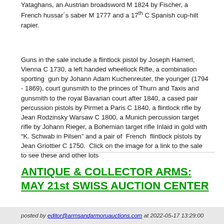Yataghans, an Austrian broadsword M 1824 by Fischer, a French hussar´s saber M 1777 and a 17th C Spanish cup-hilt rapier.
Guns in the sale include a flintlock pistol by Joseph Hamerl, Vienna C 1730, a left handed wheellock Rifle, a combination sporting gun by Johann Adam Kuchenreuter, the younger (1794 - 1869), court gunsmith to the princes of Thurn and Taxis and gunsmith to the royal Bavarian court after 1840, a cased pair percussion pistols by Pirmet a Paris C 1840, a flintlock rifle by Jean Rodzinsky Warsaw C 1800, a Munich percussion target rifle by Johann Rieger, a Bohemian target rifle Inlaid in gold with "K. Schwab in Pilsen" and a pair of French flintlock pistols by Jean Griottier C 1750. Click on the image for a link to the sale to see these and other lots
ANTIQUE & COLLECTOR ARMS: MAY 21st SWISS AUCTION CENTER
posted by editor@armsandarmoruauctions.com at 2022-05-17 13:29:00